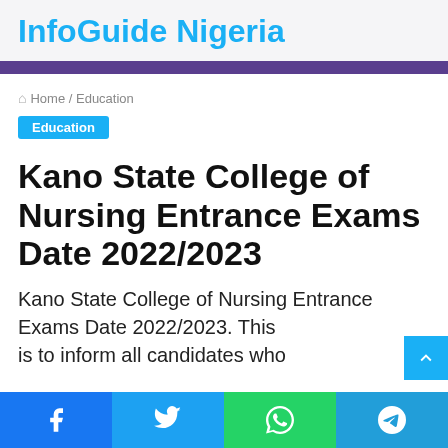InfoGuide Nigeria
Home / Education
Education
Kano State College of Nursing Entrance Exams Date 2022/2023
Kano State College of Nursing Entrance Exams Date 2022/2023. This is to inform all candidates who